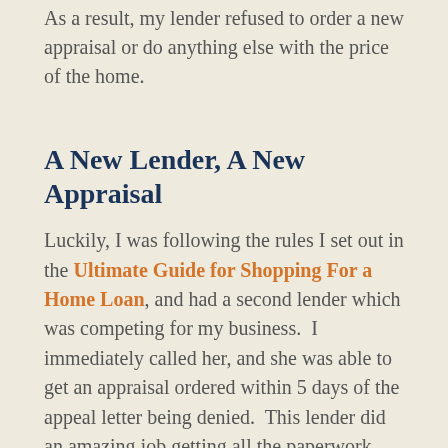As a result, my lender refused to order a new appraisal or do anything else with the price of the home.
A New Lender, A New Appraisal
Luckily, I was following the rules I set out in the Ultimate Guide for Shopping For a Home Loan, and had a second lender which was competing for my business.  I immediately called her, and she was able to get an appraisal ordered within 5 days of the appeal letter being denied.  This lender did an amazing job getting all the paperwork and appraisal completed in record time.
The appraisal came back at my first offer price, which was a whopping $70,000 higher than the botched